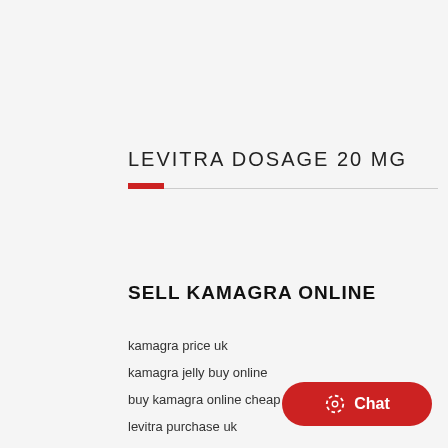LEVITRA DOSAGE 20 MG
SELL KAMAGRA ONLINE
kamagra price uk
kamagra jelly buy online
buy kamagra online cheap
levitra purchase uk
buy authentic levitra